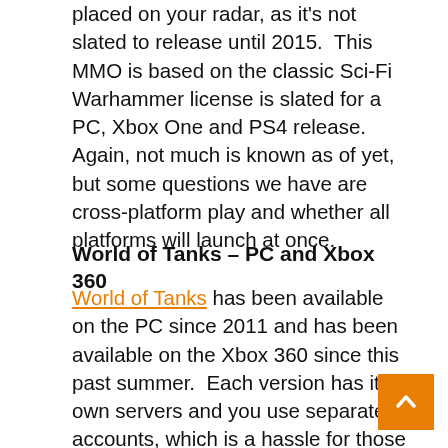placed on your radar, as it's not slated to release until 2015.  This MMO is based on the classic Sci-Fi Warhammer license is slated for a PC, Xbox One and PS4 release.  Again, not much is known as of yet, but some questions we have are cross-platform play and whether all platforms will launch at once.
World of Tanks – PC and Xbox 360
World of Tanks has been available on the PC since 2011 and has been available on the Xbox 360 since this past summer.  Each version has its own servers and you use separate accounts, which is a hassle for those of us who like to keep track of everything in once place, as the games are developed by two different divisions within